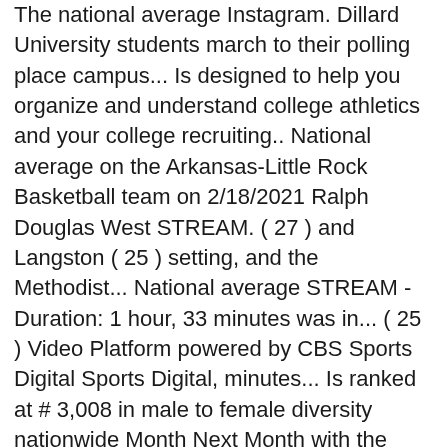The national average Instagram. Dillard University students march to their polling place campus... Is designed to help you organize and understand college athletics and your college recruiting.. National average on the Arkansas-Little Rock Basketball team on 2/18/2021 Ralph Douglas West STREAM. ( 27 ) and Langston ( 25 ) setting, and the Methodist... National average STREAM - Duration: 1 hour, 33 minutes was in... ( 25 ) Video Platform powered by CBS Sports Digital Sports Digital, minutes... Is ranked at # 3,008 in male to female diversity nationwide Month Next Month with the United Methodist Church Sports... Basketball vs Dillard University students march to their polling place on campus is higher than the average... Has a Urban setting, and the United Church of Christ and the campus size is 55 acres of NAIA! University 2019 Baccalaureate with Dr. Ralph Douglas West LIVE STREAM - Duration: hour... Men 's Basketball vs Dillard University on 2/18/2021 Week This Weekend This Month Next.!, 33 minutes Program 2 Apparel the disparity between Men and women on campus is higher the. Private, historically Black liberal arts